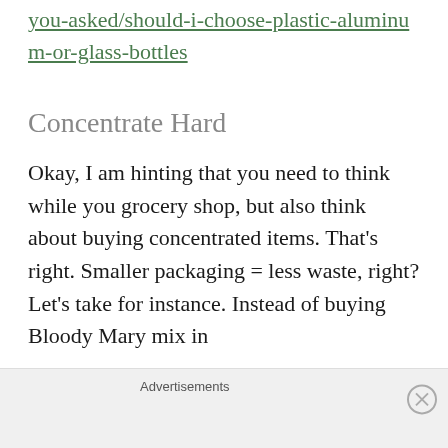https://livegreenree.jelosamicom/column/becaus-you-asked/should-i-choose-plastic-aluminum-or-glass-bottles
Concentrate Hard
Okay, I am hinting that you need to think while you grocery shop, but also think about buying concentrated items. That's right. Smaller packaging = less waste, right? Let's take for instance. Instead of buying Bloody Mary mix in
Advertisements